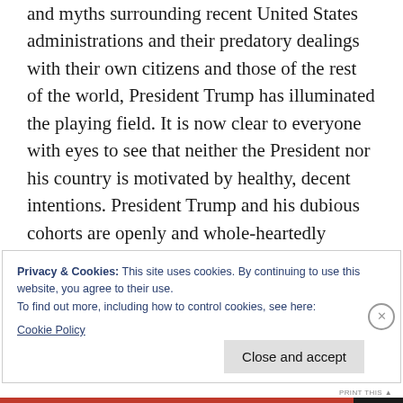and myths surrounding recent United States administrations and their predatory dealings with their own citizens and those of the rest of the world, President Trump has illuminated the playing field. It is now clear to everyone with eyes to see that neither the President nor his country is motivated by healthy, decent intentions. President Trump and his dubious cohorts are openly and whole-heartedly dedicated to plundering the world–and their own country–for their own benefit and that of
Privacy & Cookies: This site uses cookies. By continuing to use this website, you agree to their use.
To find out more, including how to control cookies, see here:
Cookie Policy
Close and accept